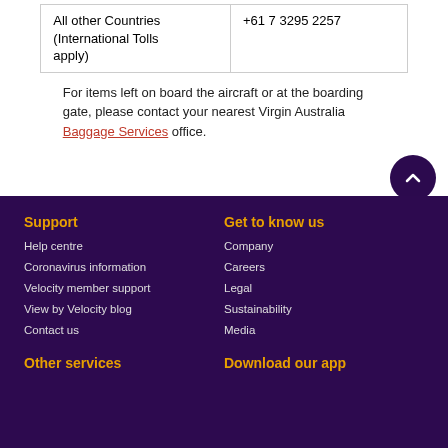| All other Countries (International Tolls apply) | +61 7 3295 2257 |
For items left on board the aircraft or at the boarding gate, please contact your nearest Virgin Australia Baggage Services office.
Support
Help centre
Coronavirus information
Velocity member support
View by Velocity blog
Contact us
Get to know us
Company
Careers
Legal
Sustainability
Media
Other services
Download our app